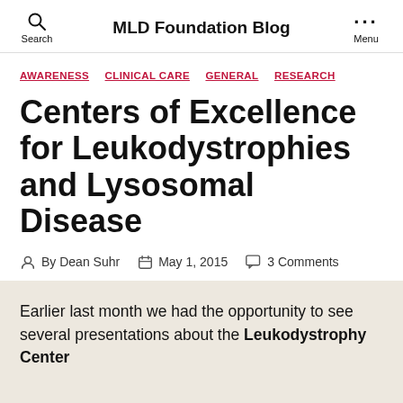MLD Foundation Blog
AWARENESS   CLINICAL CARE   GENERAL   RESEARCH
Centers of Excellence for Leukodystrophies and Lysosomal Disease
By Dean Suhr   May 1, 2015   3 Comments
Earlier last month we had the opportunity to see several presentations about the Leukodystrophy Center